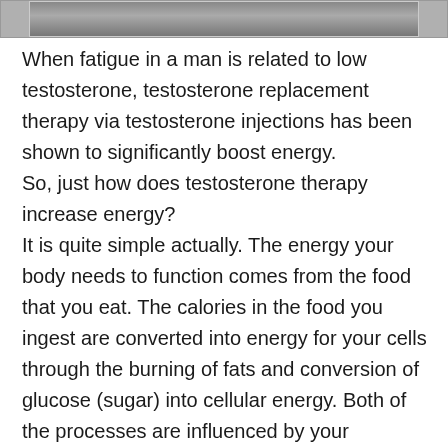[Figure (photo): Partial image strip at top of page, cropped photo]
When fatigue in a man is related to low testosterone, testosterone replacement therapy via testosterone injections has been shown to significantly boost energy. So, just how does testosterone therapy increase energy? It is quite simple actually. The energy your body needs to function comes from the food that you eat. The calories in the food you ingest are converted into energy for your cells through the burning of fats and conversion of glucose (sugar) into cellular energy. Both of the processes are influenced by your testosterone levels. The conversion of food into energy is driven by your metabolism. Metabolism is